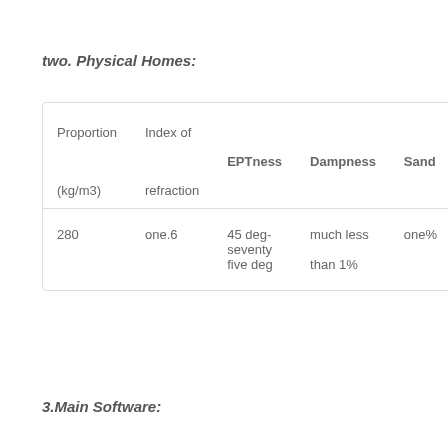two. Physical Homes:
| Proportion
(kg/m3) | Index of
refraction | EPTness | Dampness | Sand | Th |
| --- | --- | --- | --- | --- | --- |
| 280 | one.6 | 45 deg-
seventy
five deg | much less
than 1% | one% | 60 |
3.Main Software: